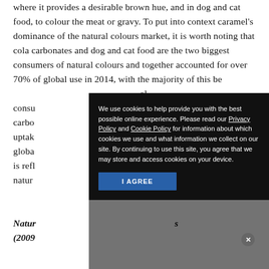where it provides a desirable brown hue, and in dog and cat food, to colour the meat or gravy. To put into context caramel's dominance of the natural colours market, it is worth noting that cola carbonates and dog and cat food are the two biggest consumers of natural colours and together accounted for over 70% of global use in 2014, with the majority of this being caramel consumption in cola carbonates, based uptake overall global v. This is reflected or natural 2019.
[Figure (screenshot): Cookie consent dialog overlay with dark background. Text reads: 'We use cookies to help provide you with the best possible online experience. Please read our Privacy Policy and Cookie Policy for information about which cookies we use and what information we collect on our site. By continuing to use this site, you agree that we may store and access cookies on your device.' Blue 'I AGREE' button at bottom left. Gray X close button at top right.]
Natural ... s (2009 ...